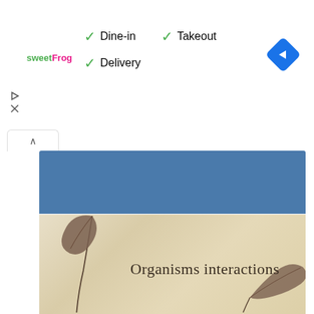[Figure (screenshot): Ad banner for sweetFrog restaurant showing Dine-in, Takeout, and Delivery checkmarks with green check icons and a blue navigation diamond icon on the right]
[Figure (photo): Book cover with aged cream/tan background featuring pressed botanical leaves and stems. Title reads 'Organisms interactions' in serif font. A dried leaf with stem is visible on the left side and another leaf in the bottom right corner.]